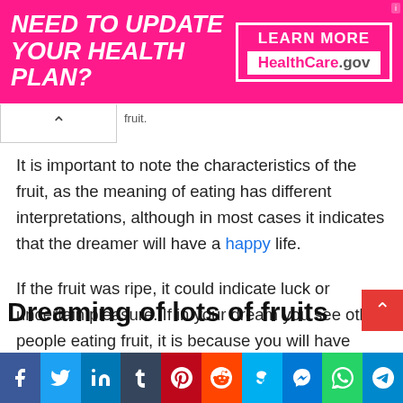[Figure (other): Advertisement banner: pink background with white bold italic text 'NEED TO UPDATE YOUR HEALTH PLAN?' on the left and a white-bordered box on the right with 'LEARN MORE' and 'HealthCare.gov']
It is important to note the characteristics of the fruit, as the meaning of eating has different interpretations, although in most cases it indicates that the dreamer will have a happy life.
If the fruit was ripe, it could indicate luck or uncertain pleasure. If in your dream you see other people eating fruit, it is because you will have professional progress. If the fruit is acidic, this indicates that it will be in good health. Eating dried fruit means aging.
Dreaming of lots of fruits
[Figure (other): Social share bar with icons for Facebook, Twitter, LinkedIn, Tumblr, Pinterest, Reddit, Skype, Messenger, WhatsApp, Telegram]